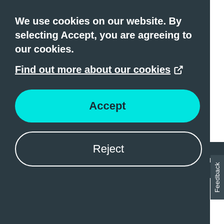We use cookies on our website. By selecting Accept, you are agreeing to our cookies.
Find out more about our cookies ↗
[Figure (screenshot): Accept button - cyan rounded rectangle button]
[Figure (screenshot): Reject button - white outline rounded rectangle button]
Feedback
[Figure (logo): TalkTalk For Everyone logo with hamburger menu and Login button]
by RonWalk Wednesday
Latest posted yesterday by Gondola
1 REPLY · 28 VIEWS
SENDING MAIL